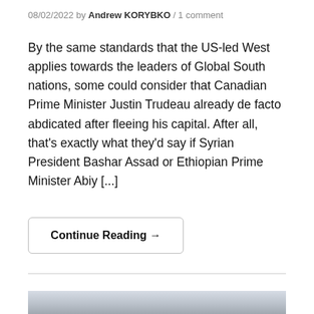08/02/2022 by Andrew KORYBKO / 1 comment
By the same standards that the US-led West applies towards the leaders of Global South nations, some could consider that Canadian Prime Minister Justin Trudeau already de facto abdicated after fleeing his capital. After all, that's exactly what they'd say if Syrian President Bashar Assad or Ethiopian Prime Minister Abiy [...]
Continue Reading →
[Figure (photo): Cityscape photo showing buildings under a cloudy sky]